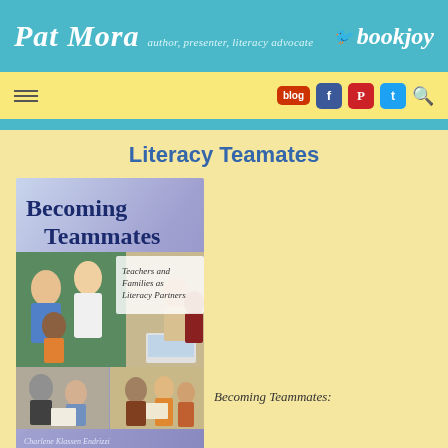Pat Mora author, presenter, literacy advocate — bookjoy
[Figure (screenshot): Website navigation bar with hamburger menu, blog icon, Facebook, Pinterest, Twitter icons and search icon on yellow background]
Literacy Teamates
[Figure (photo): Book cover of 'Becoming Teammates: Teachers and Families as Literacy Partners' by Charlene Klassen Endrizzi, showing teachers and families with children]
Becoming Teammates: